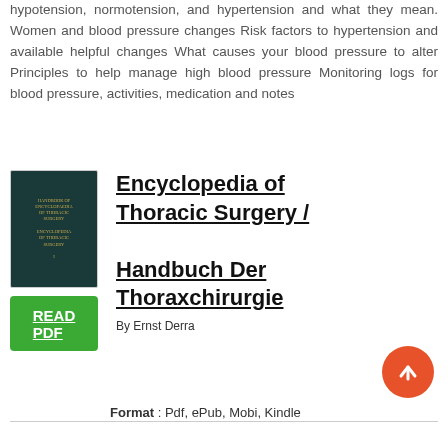hypotension, normotension, and hypertension and what they mean. Women and blood pressure changes Risk factors to hypertension and available helpful changes What causes your blood pressure to alter Principles to help manage high blood pressure Monitoring logs for blood pressure, activities, medication and notes
[Figure (illustration): Book cover for Encyclopedia of Thoracic Surgery / Handbuch Der Thoraxchirurgie, dark teal colored book with gold text]
Encyclopedia of Thoracic Surgery / Handbuch Der Thoraxchirurgie
By Ernst Derra
READ PDF
Format : Pdf, ePub, Mobi, Kindle